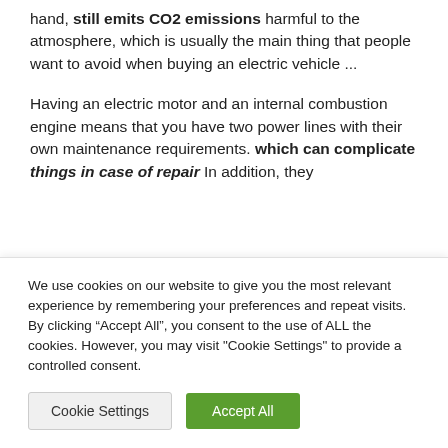hand, still emits CO2 emissions harmful to the atmosphere, which is usually the main thing that people want to avoid when buying an electric vehicle ...
Having an electric motor and an internal combustion engine means that you have two power lines with their own maintenance requirements. which can complicate things in case of repair. In addition, they
We use cookies on our website to give you the most relevant experience by remembering your preferences and repeat visits. By clicking “Accept All”, you consent to the use of ALL the cookies. However, you may visit "Cookie Settings" to provide a controlled consent.